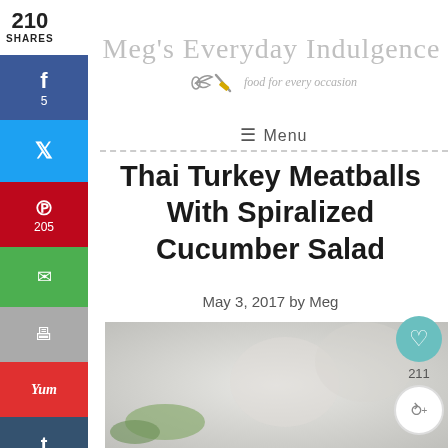210 SHARES
[Figure (screenshot): Social share sidebar with Facebook (5), Twitter, Pinterest (205), Email, Print, Yummly, Tumblr, Flipboard, Mix buttons]
[Figure (logo): Meg's Everyday Indulgence logo with whisk icon and tagline 'food for every occasion']
≡ Menu
Thai Turkey Meatballs With Spiralized Cucumber Salad
May 3, 2017 by Meg
[Figure (photo): Blurred food photo showing Thai turkey meatballs with spiralized cucumber salad]
[Figure (infographic): Floating heart/save button (211) and share button on right side]